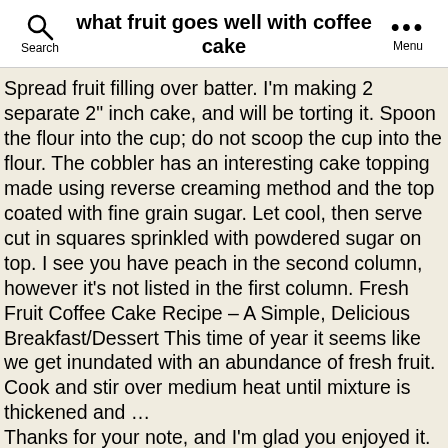what fruit goes well with coffee cake
Spread fruit filling over batter. I'm making 2 separate 2" inch cake, and will be torting it. Spoon the flour into the cup; do not scoop the cup into the flour. The cobbler has an interesting cake topping made using reverse creaming method and the top coated with fine grain sugar. Let cool, then serve cut in squares sprinkled with powdered sugar on top. I see you have peach in the second column, however it's not listed in the first column. Fresh Fruit Coffee Cake Recipe – A Simple, Delicious Breakfast/Dessert This time of year it seems like we get inundated with an abundance of fresh fruit. Cook and stir over medium heat until mixture is thickened and … Thanks for your note, and I'm glad you enjoyed it. Heck, coffee cake is a tradition that dates back hundreds of years. Of course! I think the zest would be a nice touch and that it would tie everything together well! cocoa powder, coffee, cake flour, low fat butter, oil, powdered